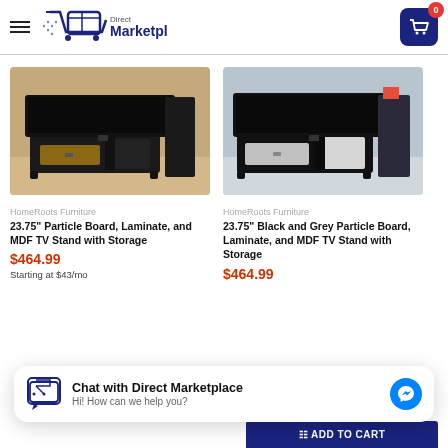Direct Marketplace — shopping cart: 0
[Figure (photo): Product photo: TV stand with particle board, laminate, black/brown finish with TV on top]
[Figure (photo): Product photo: TV stand with black and grey particle board, laminate finish with TV on top]
HomeRoots Furniture
23.75" Particle Board, Laminate, and MDF TV Stand with Storage
$464.99
Starting at $43/mo
HomeRoots Furniture
23.75" Black and Grey Particle Board, Laminate, and MDF TV Stand with Storage
$464.99
Chat with Direct Marketplace
Hi! How can we help you?